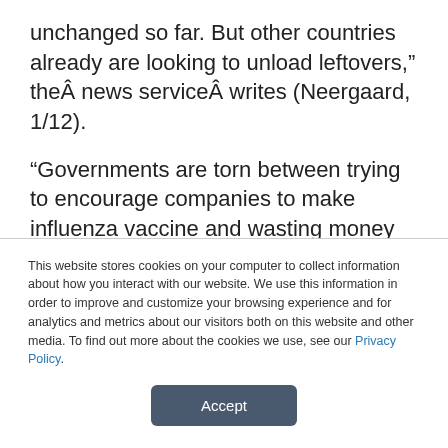unchanged so far. But other countries already are looking to unload leftovers,” theÂ news serviceÂ writes (Neergaard, 1/12).
“Governments are torn between trying to encourage companies to make influenza vaccine and wasting money on doses that are never given,” Reuters writes. “But bulk antigenÂ â€“ the vaccine before it is put into a syringeÂ â€“ can be stored and might be used in next year’s
This website stores cookies on your computer to collect information about how you interact with our website. We use this information in order to improve and customize your browsing experience and for analytics and metrics about our visitors both on this website and other media. To find out more about the cookies we use, see our Privacy Policy.